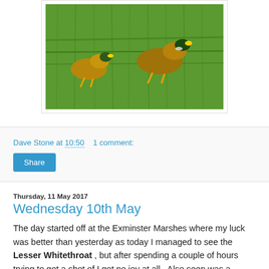[Figure (photo): Two mallard ducks walking on green grass, partial view cropped at top of page]
Dave Stone at 10:50    1 comment:
Share
Thursday, 11 May 2017
Wednesday 10th May
The day started off at the Exminster Marshes where my luck was better than yesterday as today I managed to see the Lesser Whitethroat , but after spending a couple of hours trying to get a shot of I got no joy at all . Also seen was a Eurasian Hobby making it my first in Devon this year , and also seen was a Common Blue Butterfly . Later in the day I shot the Cheat Estuary from the viewing i